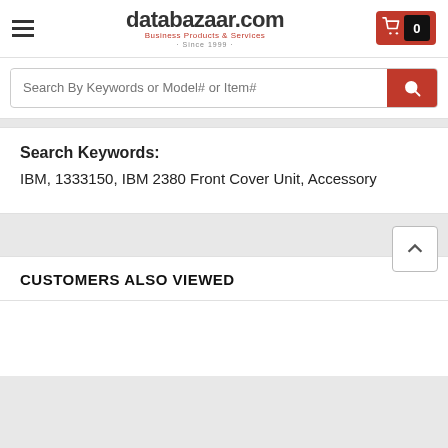databazaar.com — Business Products & Services · Since 1999
Search By Keywords or Model# or Item#
Search Keywords:
IBM, 1333150, IBM 2380 Front Cover Unit, Accessory
CUSTOMERS ALSO VIEWED